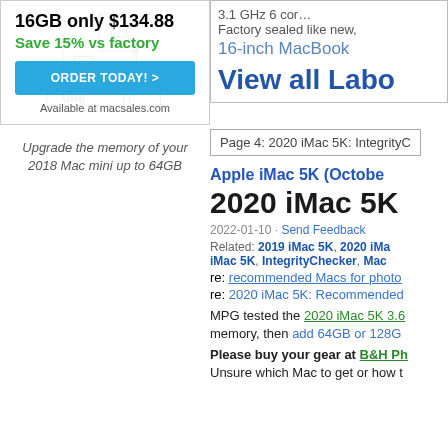[Figure (infographic): Ad for macsales.com showing 16GB only $134.88, Save 15% vs factory, ORDER TODAY! button, Available at macsales.com text, with circuit board background graphic]
Upgrade the memory of your 2018 Mac mini up to 64GB
3.1 GHz 6 cor... Factory sealed like new,
16-inch MacBook
View all Labo
Page 4: 2020 iMac 5K: IntegrityC
Apple iMac 5K (Octobe
2020 iMac 5K
2022-01-10 - Send Feedback
Related: 2019 iMac 5K, 2020 iMa iMac 5K, IntegrityChecker, Mac
re: recommended Macs for photo re: 2020 iMac 5K: Recommended
MPG tested the 2020 iMac 5K 3.6 memory, then add 64GB or 128G
Please buy your gear at B&H Ph Unsure which Mac to get or how t